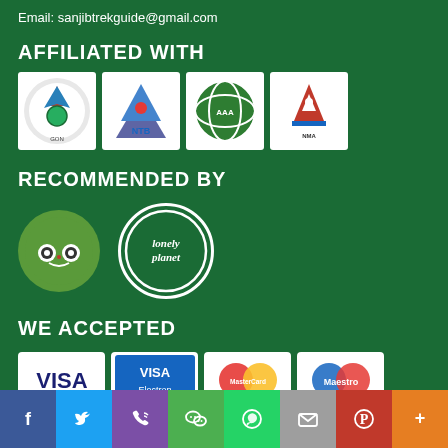Email: sanjibtrekguide@gmail.com
AFFILIATED WITH
[Figure (logo): Four affiliation logos: Nepal government emblem, NTB (Nepal Tourism Board), green globe/trekking association logo, Nepal trekking/mountaineering association logo]
RECOMMENDED BY
[Figure (logo): TripAdvisor owl logo in green circle and Lonely Planet circular text logo]
WE ACCEPTED
[Figure (logo): Payment method logos: VISA, VISA Electron, MasterCard, Maestro]
QUICK LINK
Home
Social media icons: Facebook, Twitter, Phone, WeChat, WhatsApp, Email, Pinterest, More